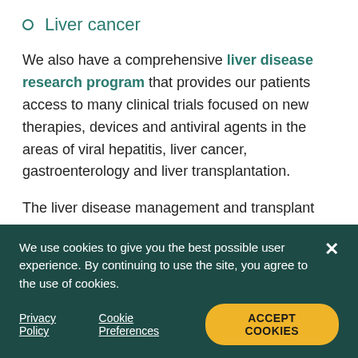Liver cancer
We also have a comprehensive liver disease research program that provides our patients access to many clinical trials focused on new therapies, devices and antiviral agents in the areas of viral hepatitis, liver cancer, gastroenterology and liver transplantation.
The liver disease management and transplant team at CPMC has achieved national recognition in patient outcomes and research, including the following distinctions:
Recognized by the Scientific Registry of
We use cookies to give you the best possible user experience. By continuing to use the site, you agree to the use of cookies.